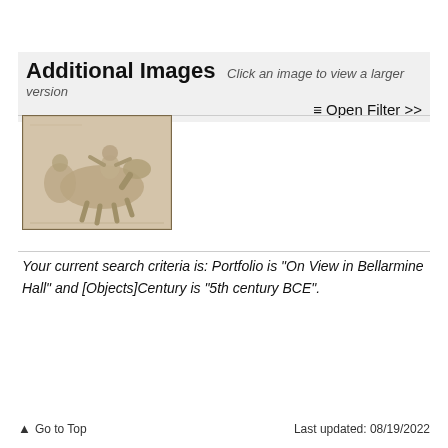Additional Images Click an image to view a larger version
≡ Open Filter >>
[Figure (photo): Stone relief sculpture showing a figure on horseback, classical Greek or Roman style, beige/tan color]
Your current search criteria is: Portfolio is "On View in Bellarmine Hall" and [Objects]Century is "5th century BCE".
▲ Go to Top   Last updated: 08/19/2022